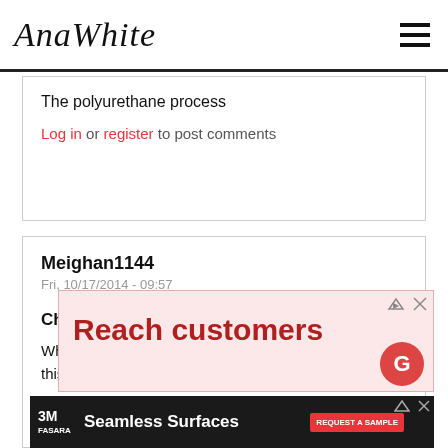Ana White
The polyurethane process
Log in or register to post comments
Meighan1144
Fri, 10/17/2014 - 09:57
Chairs
Where can I find these chairs!? Or some similar to this!! Love them !!
[Figure (other): Advertisement banner: Reach customers]
[Figure (other): Advertisement banner: 3M FASARA Seamless Surfaces - Request a Sample]